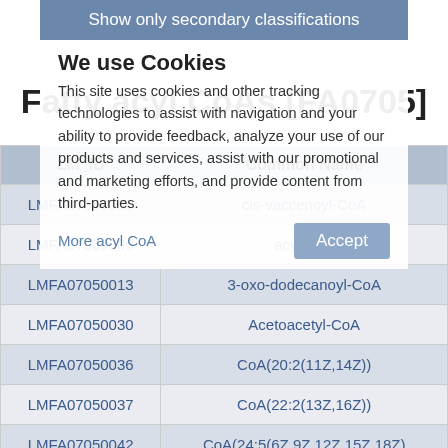Fatty acyl CoAs [FA0705]
| LM_ID | Common Name |
| --- | --- |
| LMFA07050005 | cis-vaccenoyl-CoA |
| LMFA07050000 | acyl CoA |
| LMFA07050013 | 3-oxo-dodecanoyl-CoA |
| LMFA07050030 | Acetoacetyl-CoA |
| LMFA07050036 | CoA(20:2(11Z,14Z)) |
| LMFA07050037 | CoA(22:2(13Z,16Z)) |
| LMFA07050042 | CoA(24:5(6Z,9Z,12Z,15Z,18Z) |
Show only secondary classifications
We use Cookies
This site uses cookies and other tracking technologies to assist with navigation and your ability to provide feedback, analyze your use of our products and services, assist with our promotional and marketing efforts, and provide content from third-parties.
More acyl CoA
Accept